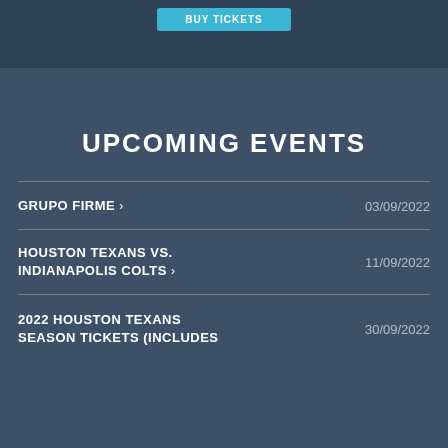[Figure (screenshot): Top dark blue banner area with a teal/cyan button at top]
UPCOMING EVENTS
GRUPO FIRME › 03/09/2022
HOUSTON TEXANS VS. INDIANAPOLIS COLTS › 11/09/2022
2022 HOUSTON TEXANS SEASON TICKETS (INCLUDES 30/09/2022